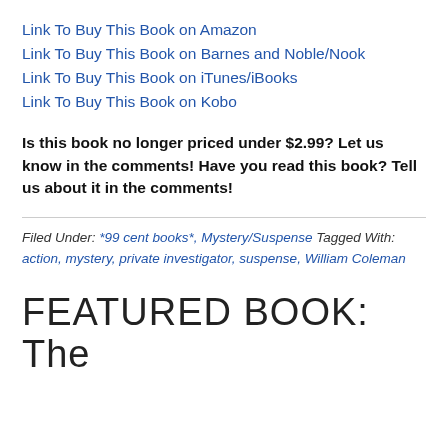Link To Buy This Book on Amazon
Link To Buy This Book on Barnes and Noble/Nook
Link To Buy This Book on iTunes/iBooks
Link To Buy This Book on Kobo
Is this book no longer priced under $2.99? Let us know in the comments! Have you read this book? Tell us about it in the comments!
Filed Under: *99 cent books*, Mystery/Suspense Tagged With: action, mystery, private investigator, suspense, William Coleman
FEATURED BOOK: The